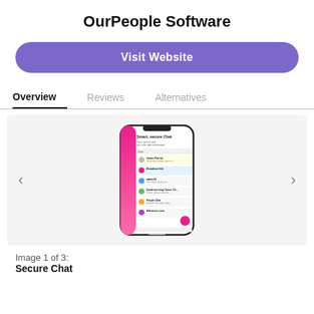OurPeople Software
Visit Website
Overview
Reviews
Alternatives
[Figure (screenshot): Screenshot of OurPeople Software app showing a smartphone with a chat interface titled 'Smart, secure Chat'. The phone has a pink/magenta accent bar on the left and displays a list of chat conversations. A pink floating action button is visible at the bottom right.]
Image 1 of 3:
Secure Chat